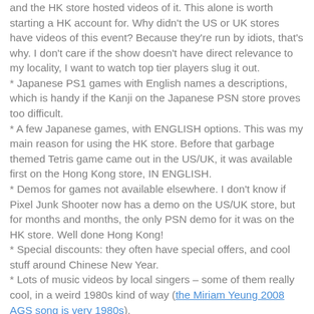and the HK store hosted videos of it. This alone is worth starting a HK account for. Why didn't the US or UK stores have videos of this event? Because they're run by idiots, that's why. I don't care if the show doesn't have direct relevance to my locality, I want to watch top tier players slug it out.
* Japanese PS1 games with English names a descriptions, which is handy if the Kanji on the Japanese PSN store proves too difficult.
* A few Japanese games, with ENGLISH options. This was my main reason for using the HK store. Before that garbage themed Tetris game came out in the US/UK, it was available first on the Hong Kong store, IN ENGLISH.
* Demos for games not available elsewhere. I don't know if Pixel Junk Shooter now has a demo on the US/UK store, but for months and months, the only PSN demo for it was on the HK store. Well done Hong Kong!
* Special discounts: they often have special offers, and cool stuff around Chinese New Year.
* Lots of music videos by local singers – some of them really cool, in a weird 1980s kind of way (the Miriam Yeung 2008 AGS song is very 1980s).